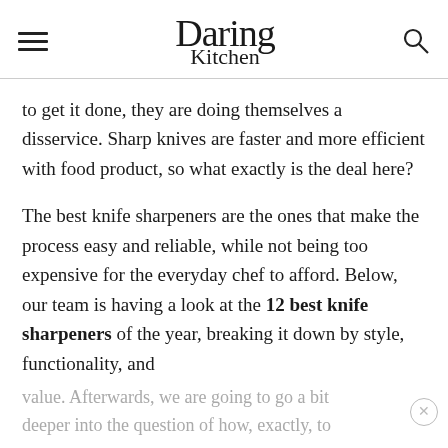Daring Kitchen
to get it done, they are doing themselves a disservice. Sharp knives are faster and more efficient with food product, so what exactly is the deal here?
The best knife sharpeners are the ones that make the process easy and reliable, while not being too expensive for the everyday chef to afford. Below, our team is having a look at the 12 best knife sharpeners of the year, breaking it down by style, functionality, and
value. Afterwards, we are going to go a bit deeper into the question of how, exactly, to